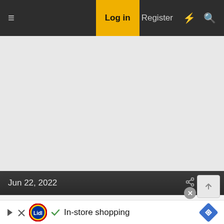≡   Log in   Register   ⚡   🔍
[Figure (screenshot): Large grey empty content area of a forum post]
Jun 22, 2022   #11
This site uses cookies to help personalise content, tailor your experience and to keep you logged in if you register.
By continuing to use this site, you are consenting to our use of cookies
[Figure (other): Lidl advertisement banner: In-store shopping]